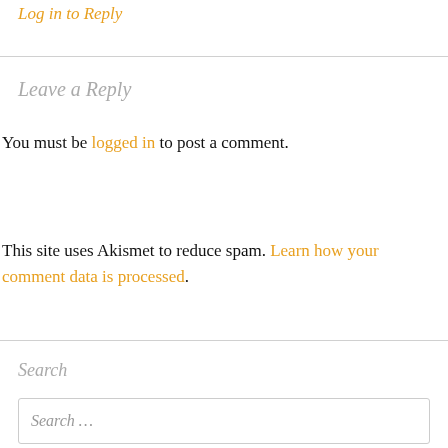Log in to Reply
Leave a Reply
You must be logged in to post a comment.
This site uses Akismet to reduce spam. Learn how your comment data is processed.
Search
Search …